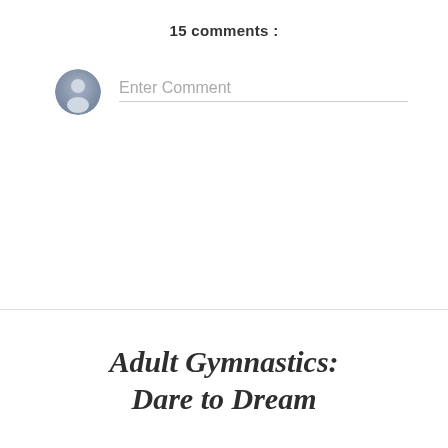15 comments :
[Figure (illustration): Generic user avatar icon — circular blue-grey silhouette of a person]
Enter Comment
Adult Gymnastics: Dare to Dream